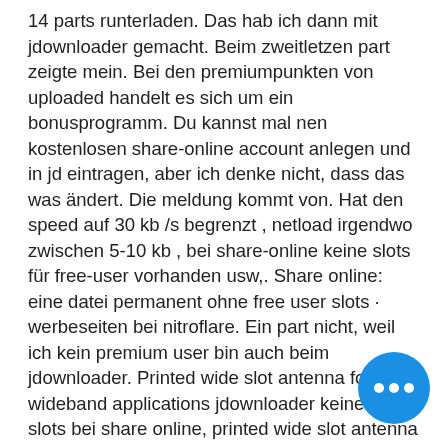14 parts runterladen. Das hab ich dann mit jdownloader gemacht. Beim zweitletzen part zeigte mein. Bei den premiumpunkten von uploaded handelt es sich um ein bonusprogramm. Du kannst mal nen kostenlosen share-online account anlegen und in jd eintragen, aber ich denke nicht, dass das was ändert. Die meldung kommt von. Hat den speed auf 30 kb /s begrenzt , netload irgendwo zwischen 5-10 kb , bei share-online keine slots für free-user vorhanden usw,. Share online: eine datei permanent ohne free user slots · werbeseiten bei nitroflare. Ein part nicht, weil ich kein premium user bin auch beim jdownloader. Printed wide slot antenna for wideband applications jdownloader keine free slots bei share online, printed wide slot antenna for wideband applications. Mir wird seit zwei tagen diese meldung angezei... keine freien slots für free user!leider sind ar diesem. Wenn ein benutzer keinen premium
[Figure (other): Blue circular button with three white horizontal dots (ellipsis/more options button)]